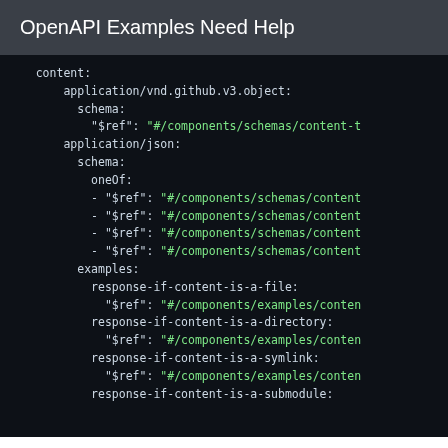OpenAPI Examples Need Help
content:
    application/vnd.github.v3.object:
      schema:
        "$ref": "#/components/schemas/content-t
    application/json:
      schema:
        oneOf:
        - "$ref": "#/components/schemas/content
        - "$ref": "#/components/schemas/content
        - "$ref": "#/components/schemas/content
        - "$ref": "#/components/schemas/content
      examples:
        response-if-content-is-a-file:
          "$ref": "#/components/examples/conten
        response-if-content-is-a-directory:
          "$ref": "#/components/examples/conten
        response-if-content-is-a-symlink:
          "$ref": "#/components/examples/conten
        response-if-content-is-a-submodule: